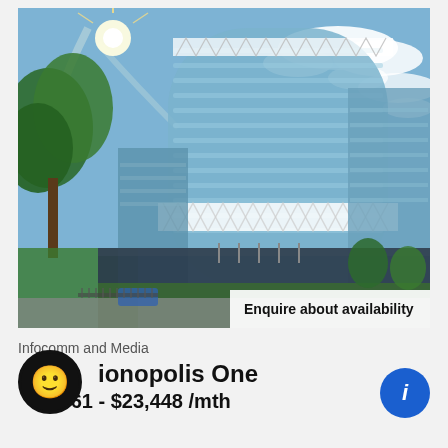[Figure (photo): Exterior photo of a modern curved glass office building (Mediapolis One) taken from ground level looking up, with blue sky, clouds, and trees in the foreground. The building features white lattice decorative panels and a cylindrical glass tower.]
Enquire about availability
Infocomm and Media
Mediapolis One
$8,461 - $23,448 /mth